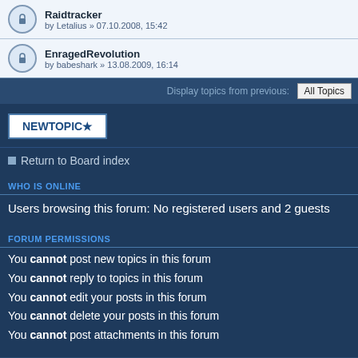Raidtracker by Letalius » 07.10.2008, 15:42
EnragedRevolution by babeshark » 13.08.2009, 16:14
Display topics from previous: All Topics
[Figure (screenshot): NEWTOPIC* button]
Return to Board index
WHO IS ONLINE
Users browsing this forum: No registered users and 2 guests
FORUM PERMISSIONS
You cannot post new topics in this forum
You cannot reply to topics in this forum
You cannot edit your posts in this forum
You cannot delete your posts in this forum
You cannot post attachments in this forum
Board index